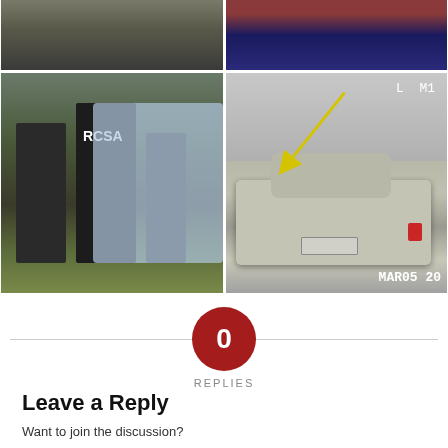[Figure (photo): Four-panel photo grid showing law enforcement scenes: top-left shows people on a road, top-right shows a blue vehicle close-up, bottom-left shows officers in dark gear near a police vehicle with 'RCSA' visible, bottom-right shows a dashcam view of a silver/grey car on a snowy road with timestamp MAR05 and L M1 label with yellow arrow overlay.]
0
REPLIES
Leave a Reply
Want to join the discussion?
Feel free to contribute!